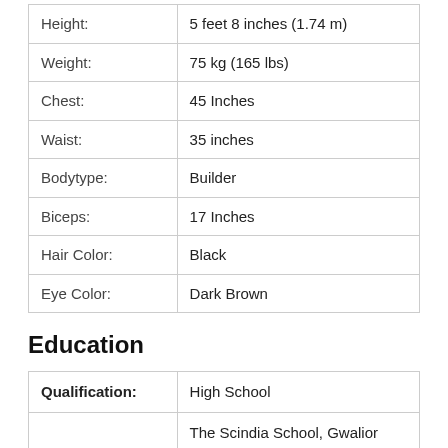| Height: | 5 feet 8 inches (1.74 m) |
| Weight: | 75 kg (165 lbs) |
| Chest: | 45 Inches |
| Waist: | 35 inches |
| Bodytype: | Builder |
| Biceps: | 17 Inches |
| Hair Color: | Black |
| Eye Color: | Dark Brown |
Education
| Qualification: | High School |
| School: | The Scindia School, Gwalior (M.P.) & St. Stanislaus High School, Bandra (Bombay) |
|  | left his studies after class 12th. He was |